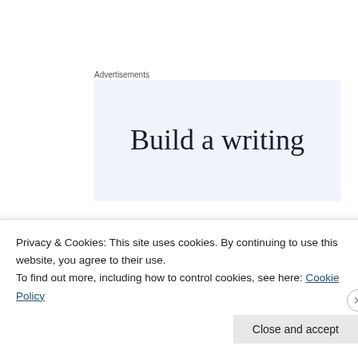Advertisements
[Figure (other): Advertisement banner showing partial text 'Build a writing' on a light blue background]
Everyone else seems to fall in line somewhere between these two polar opposites: on the prisoner side, you have Nix (Clifton Collins, Jr.), whose tattoos seem suspiciously reminiscent of real Aryan Nation prison tats; Benjy (Ethan Cohn), a gawky, comic-book
Privacy & Cookies: This site uses cookies. By continuing to use this website, you agree to their use.
To find out more, including how to control cookies, see here: Cookie Policy
Close and accept